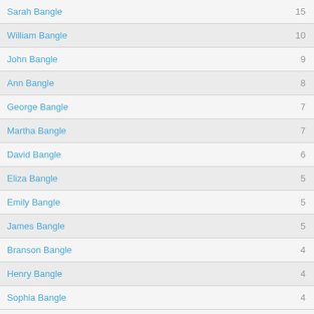| Name | Count |
| --- | --- |
| Sarah Bangle | 15 |
| William Bangle | 10 |
| John Bangle | 9 |
| Ann Bangle | 8 |
| George Bangle | 7 |
| Martha Bangle | 7 |
| David Bangle | 6 |
| Eliza Bangle | 5 |
| Emily Bangle | 5 |
| James Bangle | 5 |
| Branson Bangle | 4 |
| Henry Bangle | 4 |
| Sophia Bangle | 4 |